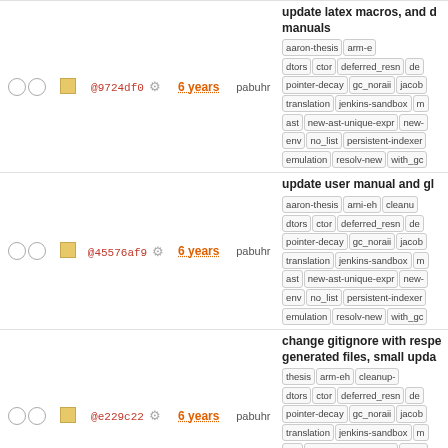| select | select2 | status | hash | age | user | description |
| --- | --- | --- | --- | --- | --- | --- |
| ○ ○ | □ | @9724df0 | 6 years | pabuhr | update latex macros, and d... manuals | aaron-thesis | arm-eh | dtors | ctor | deferred_resn | de... | pointer-decay | gc_noraii | jacob... | translation | jenkins-sandbox | m... | ast | new-ast-unique-expr | new-... | env | no_list | persistent-indexer... | emulation | resolv-new | with_gc... |
| ○ ○ | □ | @45576af9 | 6 years | pabuhr | update user manual and gl... aaron-thesis | arni-eh | cleanup... | dtors | ctor | deferred_resn | de... | pointer-decay | gc_noraii | jacob... | translation | jenkins-sandbox | m... | ast | new-ast-unique-expr | new-... | env | no_list | persistent-indexer... | emulation | resolv-new | with_gc... |
| ○ ○ | □ | @e229c22 | 6 years | pabuhr | change gitignore with respe... generated files, small upda... thesis | arm-eh | cleanup- | dtors | ctor | deferred_resn | de... | pointer-decay | gc_noraii | jacob... | translation | jenkins-sandbox | m... | ast | new-ast-unique-expr | new-... | env | no_list | persistent-indexer... | emulation | resolv-new | with_gc... |
| ○ ○ | □ | @0638c44 | 6 years | pabuhr | more formatting changes to... update I/O for examples | a... | eh | cleanup- | dtors | ctor | deferred_resn | de... | pointer-decay | gc_noraii | jacob... | translation | jenkins-sandbox | m... | ast | new-ast-unique-expr | new-... | env | no_list | persistent-indexer... | emulation | resolv-new | with_gc... |